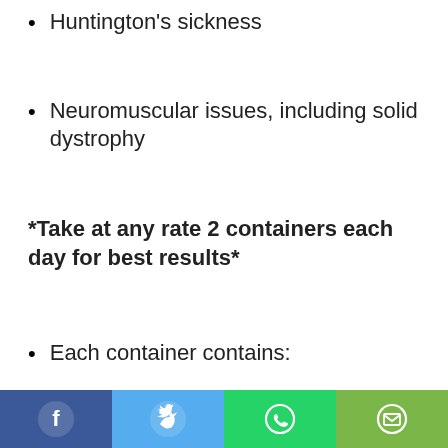Huntington's sickness
Neuromuscular issues, including solid dystrophy
*Take at any rate 2 containers each day for best results*
Each container contains: